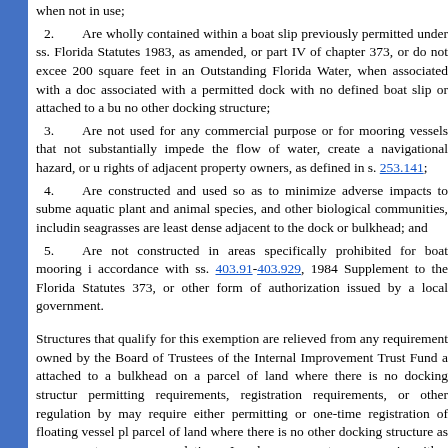when not in use;
2.   Are wholly contained within a boat slip previously permitted under ss. Florida Statutes 1983, as amended, or part IV of chapter 373, or do not exceed 200 square feet in an Outstanding Florida Water, when associated with a dock associated with a permitted dock with no defined boat slip or attached to a bulkhead with no other docking structure;
3.   Are not used for any commercial purpose or for mooring vessels that not substantially impede the flow of water, create a navigational hazard, or unreasonably infringe upon the rights of adjacent property owners, as defined in s. 253.141;
4.   Are constructed and used so as to minimize adverse impacts to submerged aquatic plant and animal species, and other biological communities, including where seagrasses are least dense adjacent to the dock or bulkhead; and
5.   Are not constructed in areas specifically prohibited for boat mooring in accordance with ss. 403.91-403.929, 1984 Supplement to the Florida Statutes, chapter 373, or other form of authorization issued by a local government.
Structures that qualify for this exemption are relieved from any requirements owned by the Board of Trustees of the Internal Improvement Trust Fund and attached to a bulkhead on a parcel of land where there is no docking structure, permitting requirements, registration requirements, or other regulation by may require either permitting or one-time registration of floating vessel platforms on a parcel of land where there is no other docking structure as necessary to ensure compliance with or regulations. Local governments may require either permitting or one-time